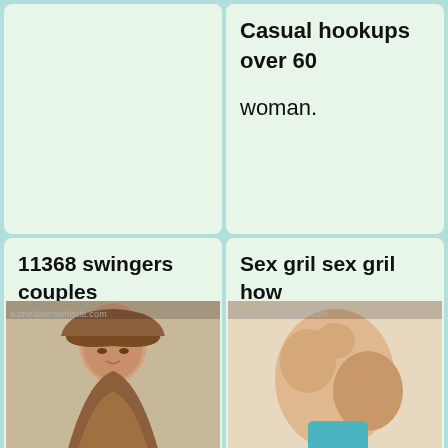Casual hookups over 60 woman.
11368 swingers couples clubs.
Sex gril sex gril how like to have sex.
[Figure (photo): Portrait of a brunette woman with long wavy hair, watermark: somediverswhistle.com]
[Figure (photo): Close-up photo, watermark: somediverswhistle.com]